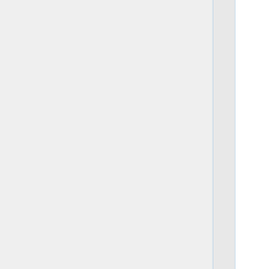Gate • Ironmonger's Gate • Jasmine's Garden • Low Gate • Market Gate • Market Square • Mud Gate • North Gate • Oldstone Ruins • Oldstones Gate • Scholar's Stair • Scholar's Walk • Skirmish Camp • South Gate • Staddle Gate • The Stone Quarter • Trader's Gate •